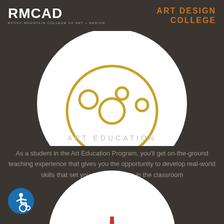RMCAD - ROCKY MOUNTAIN COLLEGE OF ART + DESIGN | ART DESIGN COLLEGE
[Figure (illustration): Bottom half of a white circle containing a golden paint palette icon outline with circular paint wells]
ART EDUCATION
As a student in the Art Education Program, you'll get on-the-ground teaching experience that gives you the opportunity to develop real-world skills that set you up for success in the classroom
[Figure (illustration): Top portion of a white circle with a red vertical line/paintbrush visible at the bottom center]
[Figure (logo): Wheelchair accessibility icon — blue circle with white wheelchair user symbol]